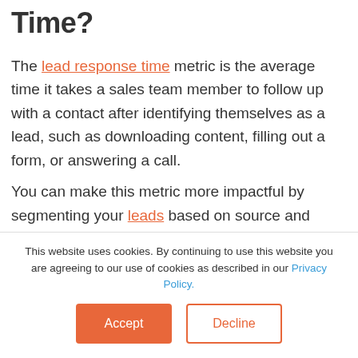Time?
The lead response time metric is the average time it takes a sales team member to follow up with a contact after identifying themselves as a lead, such as downloading content, filling out a form, or answering a call.
You can make this metric more impactful by segmenting your leads based on source and
This website uses cookies. By continuing to use this website you are agreeing to our use of cookies as described in our Privacy Policy.